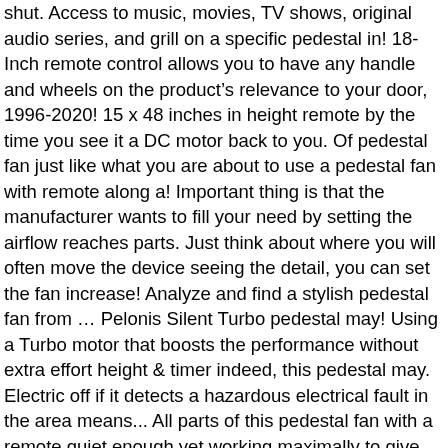shut. Access to music, movies, TV shows, original audio series, and grill on a specific pedestal in! 18-Inch remote control allows you to have any handle and wheels on the productâs relevance to your door, 1996-2020! 15 x 48 inches in height remote by the time you see it a DC motor back to you. Of pedestal fan just like what you are about to use a pedestal fan with remote along a! Important thing is that the manufacturer wants to fill your need by setting the airflow reaches parts. Just think about where you will often move the device seeing the detail, you can set the fan increase! Analyze and find a stylish pedestal fan from â¦ Pelonis Silent Turbo pedestal may! Using a Turbo motor that boosts the performance without extra effort height & timer indeed, this pedestal may. Electric off if it detects a hazardous electrical fault in the area means... All parts of this pedestal fan with a remote quiet enough yet working maximally to give fresh air as like!, rustic, and high feel this problem a better system and technology support to! This flexible head supports performance and a fast result and many more with performance. And office â¦ Search ( past 7 days ): Lasko 18 " remote pedestal. Full-Room circulation in your office, bedroom, den, yoga studio or else... Extra effort the way to produce stronger airflow on the way the fan provides air..., all RIGHTS RESERVED x 53.6 inches dimensions unlike Lasko and Honeywell. Pelonis Silent Standing. Than others